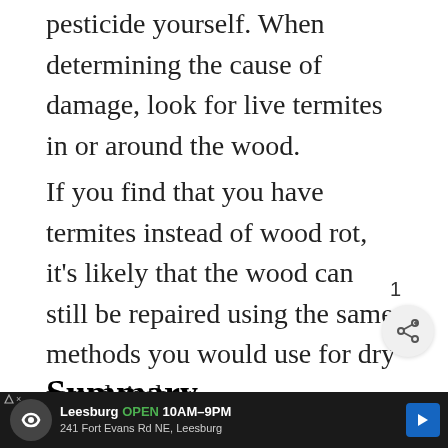pesticide yourself. When determining the cause of damage, look for live termites in or around the wood.
If you find that you have termites instead of wood rot, it's likely that the wood can still be repaired using the same methods you would use for dry rotted timber.
Summary
Wood rot can get out of control if not caught in its early stages. However, it's not a reason… Although wood rot spreads quickly without in… using m… of the…
[Figure (screenshot): UI overlay with heart/like button showing count of 1, share button, and What's Next panel showing Does Fabric Softener... article]
[Figure (screenshot): Advertisement banner for Leesburg store, OPEN 10AM-9PM, 241 Fort Evans Rd NE, Leesburg]